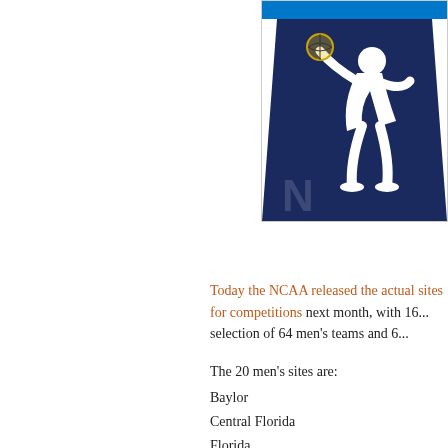[Figure (logo): NCAA logo — dark navy blue stylized figure with basketball, blue bar at top, partial view cropped at right edge]
Today the NCAA released the actual sites for competitions next month, with 16... selection of 64 men's teams and 6...
The 20 men's sites are:
Baylor
Central Florida
Florida
Georgia
Illinois